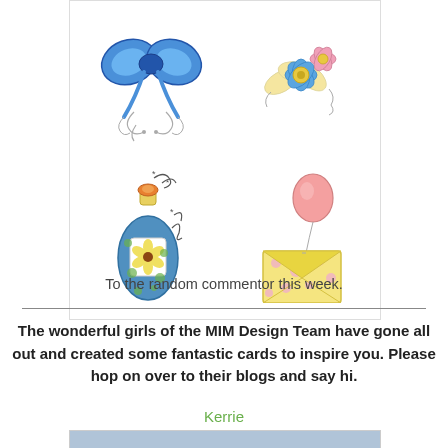[Figure (illustration): A 2x2 grid of decorative clipart illustrations: top-left is a blue decorative bow with swirls, top-right is a cluster of colorful flowers (blue, pink, yellow), bottom-left is a blue polka-dot perfume bottle with decorative swirls, bottom-right is a yellow polka-dot envelope with a pink balloon.]
To the random commentor this week.
The wonderful girls of the MIM Design Team have gone all out and created some fantastic cards to inspire you. Please hop on over to their blogs and say hi.
Kerrie
[Figure (photo): A partially visible blue/grey colored image at the bottom of the page.]